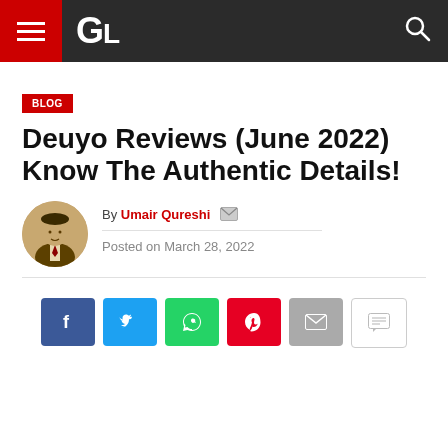GL Blog
BLOG
Deuyo Reviews (June 2022) Know The Authentic Details!
By Umair Qureshi
Posted on March 28, 2022